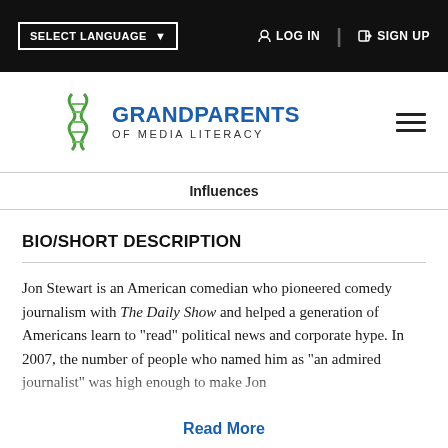SELECT LANGUAGE ▼   LOG IN   SIGN UP
[Figure (logo): Grandparents of Media Literacy logo with green DNA helix icon and blue bold text]
Influences
BIO/SHORT DESCRIPTION
Jon Stewart is an American comedian who pioneered comedy journalism with The Daily Show and helped a generation of Americans learn to "read" political news and corporate hype. In 2007, the number of people who named him as "an admired journalist" was high enough to make Jon
Read More